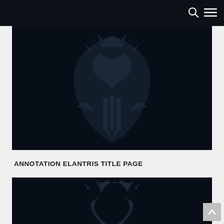[Figure (logo): Dragonsteel / Brandon Sanderson logo — a stylized dragon and shield shape in dark navy on black background]
ANNOTATION ELANTRIS TITLE PAGE
[Figure (logo): Partial Dragonsteel logo (dragon claw portion) visible at bottom of page, dark navy on black background]